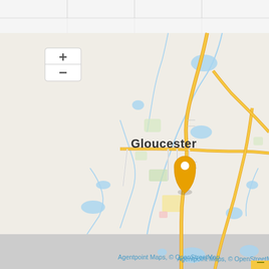[Figure (map): Google Maps style map centered on Gloucester, showing road networks including Waukwory Road and The Buck road, with a yellow location pin marker, zoom controls (+/-) in top left, water bodies shown in blue, and a gray unloaded tile area in the bottom left. Attribution reads 'Agentpoint Maps, © OpenStreetMap'.]
Agentpoint Maps, © OpenStreetMap